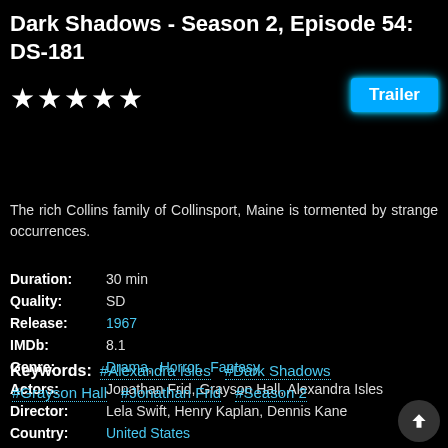Dark Shadows - Season 2, Episode 54: DS-181
★★★★★
Trailer
The rich Collins family of Collinsport, Maine is tormented by strange occurrences.
| Duration: | 30 min |
| Quality: | SD |
| Release: | 1967 |
| IMDb: | 8.1 |
| Genre: | Drama,  Horror,  Fantasy |
| Actors: | Jonathan Frid, Grayson Hall, Alexandra Isles |
| Director: | Lela Swift, Henry Kaplan, Dennis Kane |
| Country: | United States |
Keywords:  #Alexandra Isles  #Dark Shadows  #Grayson Hall  #Jonathan Frid  #Season 2